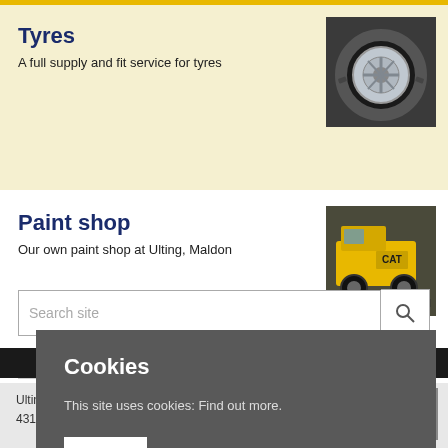Tyres
A full supply and fit service for tyres
[Figure (photo): Close-up photo of a large tyre on a white rim]
Paint shop
Our own paint shop at Ulting, Maldon
[Figure (photo): Yellow CAT construction machine in a paint shop]
Search site
FULL SITE
Ulting Maldon
431173 in England
ntained by Fellowship
Cookies
This site uses cookies: Find out more.
OK